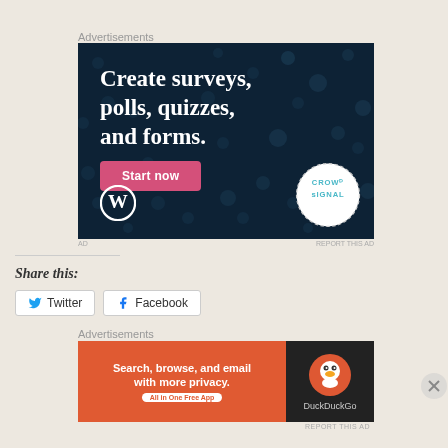Advertisements
[Figure (illustration): Dark navy advertisement banner for Crowdsignal/WordPress with text 'Create surveys, polls, quizzes, and forms.' and a pink 'Start now' button, WordPress logo bottom-left, Crowdsignal circular badge bottom-right]
Share this:
Twitter
Facebook
Advertisements
[Figure (illustration): DuckDuckGo advertisement banner with orange left panel 'Search, browse, and email with more privacy. All in One Free App' and dark right panel with DuckDuckGo logo]